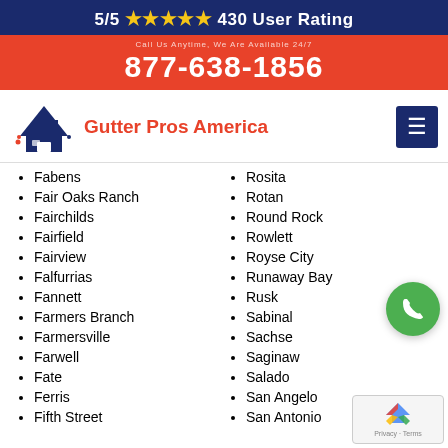5/5 ★★★★★ 430 User Rating
877-638-1856
[Figure (logo): Gutter Pros America logo with house roof icon]
Fabens
Fair Oaks Ranch
Fairchilds
Fairfield
Fairview
Falfurrias
Fannett
Farmers Branch
Farmersville
Farwell
Fate
Ferris
Fifth Street
Rosita
Rotan
Round Rock
Rowlett
Royse City
Runaway Bay
Rusk
Sabinal
Sachse
Saginaw
Salado
San Angelo
San Antonio